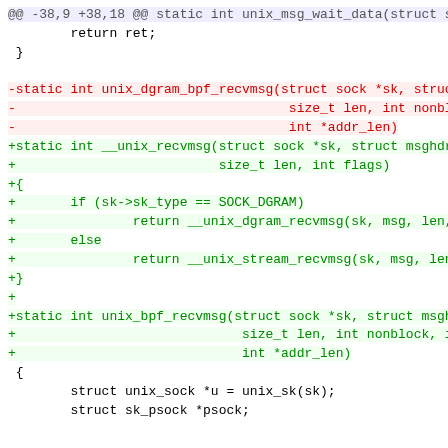[Figure (screenshot): A unified diff (code patch) showing changes to a C source file. Includes hunk header, removed lines (red, prefixed with -), added lines (green, prefixed with +), and context lines. The patch modifies unix_dgram_bpf_recvmsg and adds __unix_recvmsg and unix_bpf_recvmsg functions.]